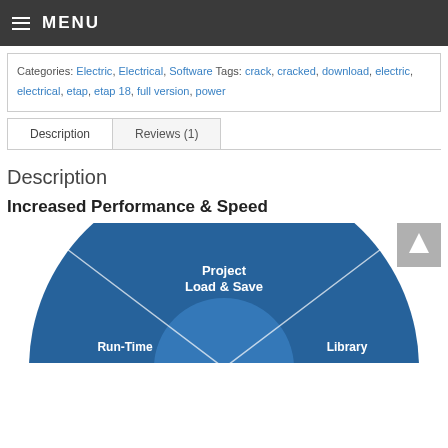≡ MENU
Categories: Electric, Electrical, Software Tags: crack, cracked, download, electric, electrical, etap, etap 18, full version, power
Description | Reviews (1)
Description
Increased Performance & Speed
[Figure (infographic): Circular/radial diagram showing performance areas: Project Load & Save, Run-Time, Library — segments of a blue circular chart]